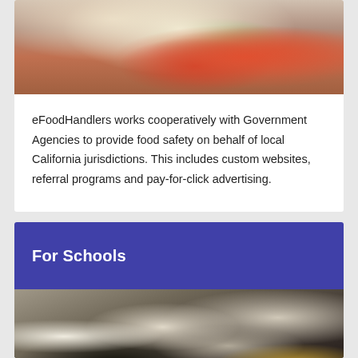[Figure (photo): Chef plating a dish with tomatoes and green herbs in a kitchen]
eFoodHandlers works cooperatively with Government Agencies to provide food safety on behalf of local California jurisdictions. This includes custom websites, referral programs and pay-for-click advertising.
For Schools
[Figure (photo): Group of culinary students in white chef uniforms and dark aprons working in a kitchen]